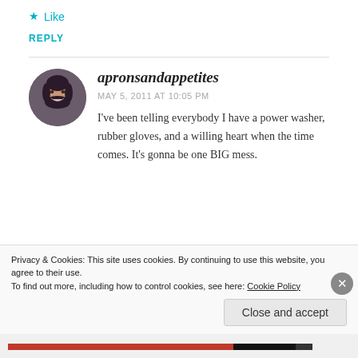Like
REPLY
[Figure (photo): Circular avatar photo of a woman with dark hair, smiling]
apronsandappetites
MAY 5, 2011 AT 10:05 PM
I've been telling everybody I have a power washer, rubber gloves, and a willing heart when the time comes. It's gonna be one BIG mess.
Privacy & Cookies: This site uses cookies. By continuing to use this website, you agree to their use.
To find out more, including how to control cookies, see here: Cookie Policy
Close and accept